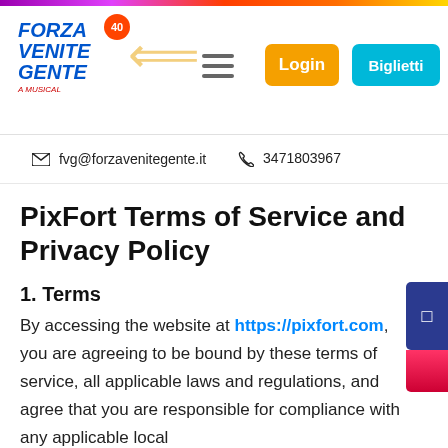[Figure (logo): Forza Venite Gente - A Musical logo with 40th anniversary badge and decorative cross/dove imagery]
fvg@forzavenitegente.it   3471803967
PixFort Terms of Service and Privacy Policy
1. Terms
By accessing the website at https://pixfort.com, you are agreeing to be bound by these terms of service, all applicable laws and regulations, and agree that you are responsible for compliance with any applicable local